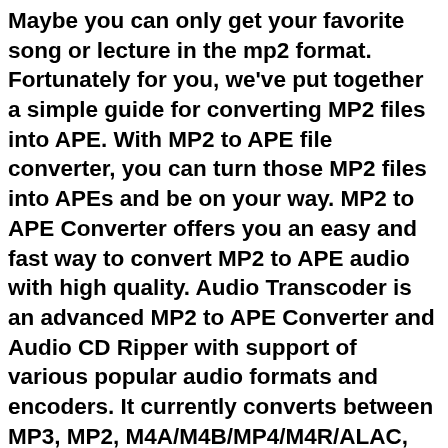Maybe you can only get your favorite song or lecture in the mp2 format. Fortunately for you, we've put together a simple guide for converting MP2 files into APE. With MP2 to APE file converter, you can turn those MP2 files into APEs and be on your way. MP2 to APE Converter offers you an easy and fast way to convert MP2 to APE audio with high quality. Audio Transcoder is an advanced MP2 to APE Converter and Audio CD Ripper with support of various popular audio formats and encoders. It currently converts between MP3, MP2, M4A/M4B/MP4/M4R/ALAC, AIFF, WMA, AC3, Ogg Vorbis, MP3, AAC, WAV and APE formats. People often search for "mp2 to ape converter online" or "how to convert mp2 to ape online" without realizing that uncompressed audio files are large in size and by the time you upload, convert and download the files you are better off downloading MP2 to APE converter on your PC and perform convention locally = 0 second waiting for uploading and downloading. With MP2 to APE Converter you easily rip your audio CDs to APE, FLAC or WMA files for use with your hardware player or convert files that do not play with other audio